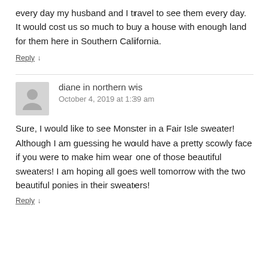every day my husband and I travel to see them every day. It would cost us so much to buy a house with enough land for them here in Southern California.
Reply ↓
diane in northern wis
October 4, 2019 at 1:39 am
Sure, I would like to see Monster in a Fair Isle sweater! Although I am guessing he would have a pretty scowly face if you were to make him wear one of those beautiful sweaters! I am hoping all goes well tomorrow with the two beautiful ponies in their sweaters!
Reply ↓